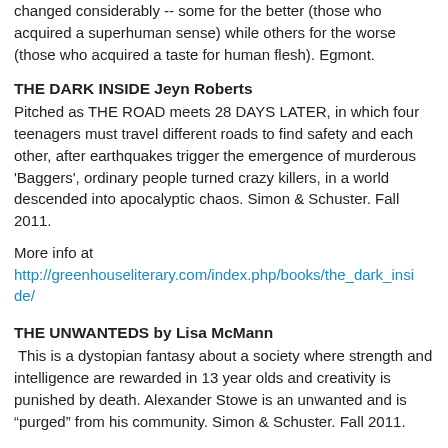changed considerably -- some for the better (those who acquired a superhuman sense) while others for the worse (those who acquired a taste for human flesh). Egmont.
THE DARK INSIDE Jeyn Roberts
Pitched as THE ROAD meets 28 DAYS LATER, in which four teenagers must travel different roads to find safety and each other, after earthquakes trigger the emergence of murderous 'Baggers', ordinary people turned crazy killers, in a world descended into apocalyptic chaos. Simon & Schuster. Fall 2011.
More info at http://greenhouseliterary.com/index.php/books/the_dark_inside/
THE UNWANTEDS by Lisa McMann
This is a dystopian fantasy about a society where strength and intelligence are rewarded in 13 year olds and creativity is punished by death. Alexander Stowe is an unwanted and is “purged” from his community. Simon & Schuster. Fall 2011.